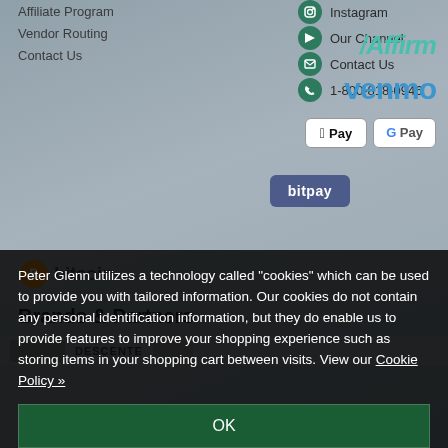Affiliate Program
Vendor Routing
Contact Us
Instagram
Our Channel
Contact Us
1-800-818-0946
[Figure (logo): Affirm payment logo in teal italic text]
[Figure (logo): Venmo payment logo in blue bold text]
[Figure (logo): Apple Pay button]
[Figure (logo): Google Pay button]
[Figure (logo): BitPay button in dark blue]
[Figure (logo): Bitcoin logo with orange circle and text]
Brands & Partners
Peter Glenn utilizes a technology called "cookies" which can be used to provide you with tailored information. Our cookies do not contain any personal identification information, but they do enable us to provide features to improve your shopping experience such as storing items in your shopping cart between visits. View our Cookie Policy »
OK